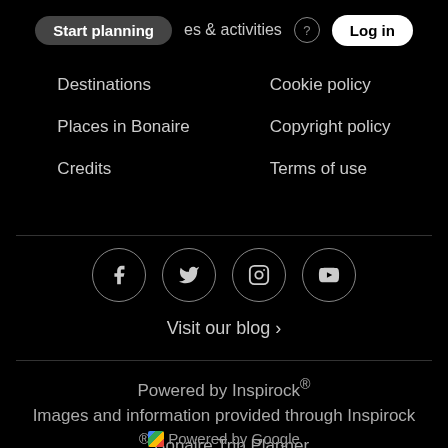Start planning  places & activities  Log in
Destinations
Cookie policy
Places in Bonaire
Copyright policy
Credits
Terms of use
[Figure (infographic): Social media icons in circles: Facebook, Twitter, Instagram, YouTube]
Visit our blog ›
Powered by Inspirock®
Images and information provided through Inspirock ® Bonaire Trip Planner
Powered by Google